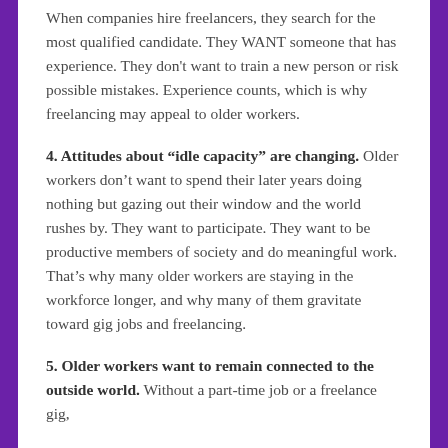When companies hire freelancers, they search for the most qualified candidate. They WANT someone that has experience. They don't want to train a new person or risk possible mistakes. Experience counts, which is why freelancing may appeal to older workers.
4. Attitudes about “idle capacity” are changing. Older workers don’t want to spend their later years doing nothing but gazing out their window and the world rushes by. They want to participate. They want to be productive members of society and do meaningful work. That’s why many older workers are staying in the workforce longer, and why many of them gravitate toward gig jobs and freelancing.
5. Older workers want to remain connected to the outside world. Without a part-time job or a freelance gig,